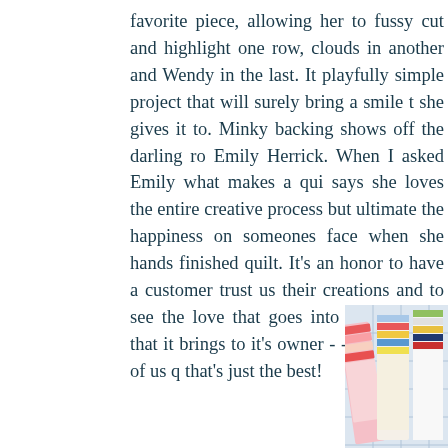favorite piece, allowing her to fussy cut and highlight one row, clouds in another and Wendy in the last. It playfully simple project that will surely bring a smile t she gives it to. Minky backing shows off the darling ro Emily Herrick. When I asked Emily what makes a qui says she loves the entire creative process but ultimate the happiness on someones face when she hands finished quilt. It's an honor to have a customer trust us their creations and to see the love that goes into each the joy that it brings to it's owner - - I think most of us q that's just the best!
[Figure (photo): Three stacks of colorful quilting fabric bundles arranged on a blue grid/graph paper background. Left stack has floral pink fabrics, center stack has colorful bird/animal print fabrics, right stack has robot-themed fabrics. Each bundle shows multiple fabric strips fanned out.]